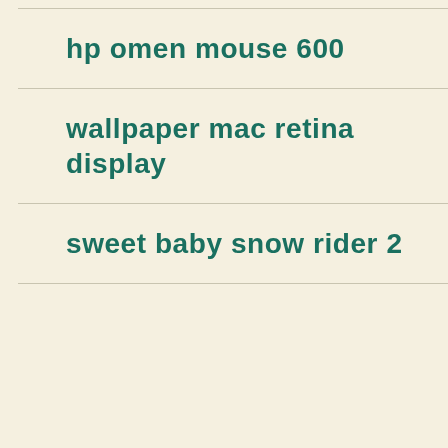hp omen mouse 600
wallpaper mac retina display
sweet baby snow rider 2